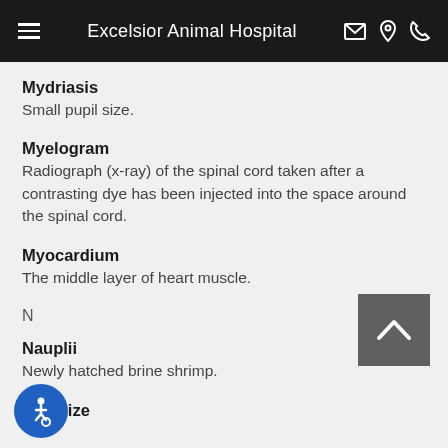Excelsior Animal Hospital
Mydriasis
Small pupil size.
Myelogram
Radiograph (x-ray) of the spinal cord taken after a contrasting dye has been injected into the space around the spinal cord.
Myocardium
The middle layer of heart muscle.
N
Nauplii
Newly hatched brine shrimp.
Nebulize